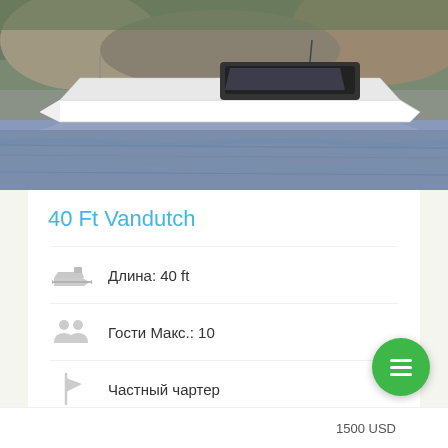[Figure (photo): Aerial/side view of a white 40 ft Vandutch motor yacht on water with rocky shoreline in background]
40 Ft Vandutch
Длина: 40 ft
Гости Макс.: 10
Частный чартер
1500 USD